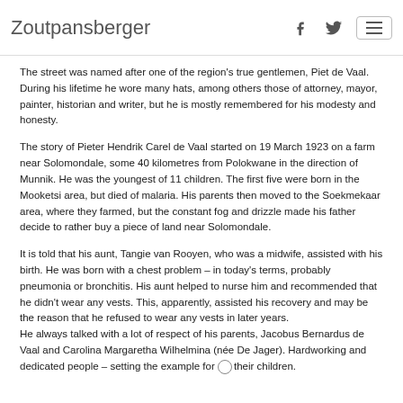Zoutpansberger
The street was named after one of the region's true gentlemen, Piet de Vaal. During his lifetime he wore many hats, among others those of attorney, mayor, painter, historian and writer, but he is mostly remembered for his modesty and honesty.
The story of Pieter Hendrik Carel de Vaal started on 19 March 1923 on a farm near Solomondale, some 40 kilometres from Polokwane in the direction of Munnik. He was the youngest of 11 children. The first five were born in the Mooketsi area, but died of malaria. His parents then moved to the Soekmekaar area, where they farmed, but the constant fog and drizzle made his father decide to rather buy a piece of land near Solomondale.
It is told that his aunt, Tangie van Rooyen, who was a midwife, assisted with his birth. He was born with a chest problem – in today's terms, probably pneumonia or bronchitis. His aunt helped to nurse him and recommended that he didn't wear any vests. This, apparently, assisted his recovery and may be the reason that he refused to wear any vests in later years.
He always talked with a lot of respect of his parents, Jacobus Bernardus de Vaal and Carolina Margaretha Wilhelmina (née De Jager). Hardworking and dedicated people – setting the example for their children.